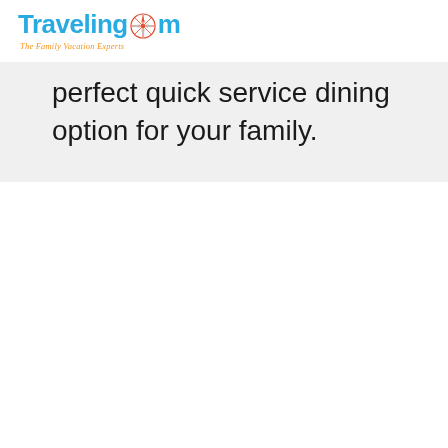[Figure (logo): TravelingMom logo with compass rose icon and tagline 'The Family Vacation Experts']
perfect quick service dining option for your family.